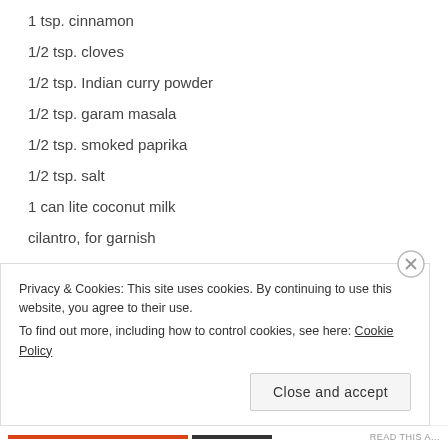1 tsp. cinnamon
1/2 tsp. cloves
1/2 tsp. Indian curry powder
1/2 tsp. garam masala
1/2 tsp. smoked paprika
1/2 tsp. salt
1 can lite coconut milk
cilantro,  for garnish
brown rice,  for serving
1. Heat oil in a saucepan over medium heat. Saute onion, ginger and garlic for 8-10 minutes, until the onion is
Privacy & Cookies: This site uses cookies. By continuing to use this website, you agree to their use.
To find out more, including how to control cookies, see here: Cookie Policy
Close and accept